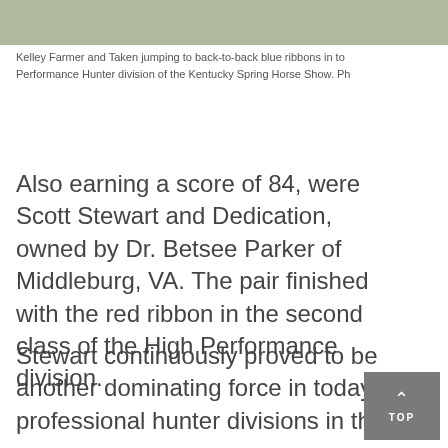[Figure (photo): Partial photo strip at top of page showing horses and greenery at a horse show]
Kelley Farmer and Taken jumping to back-to-back blue ribbons in to Performance Hunter division of the Kentucky Spring Horse Show. Ph
Also earning a score of 84, were Scott Stewart and Dedication, owned by Dr. Betsee Parker of Middleburg, VA. The pair finished with the red ribbon in the second class of the High Performance division.
Stewart continuously proved to be another dominating force in today's professional hunter divisions in the